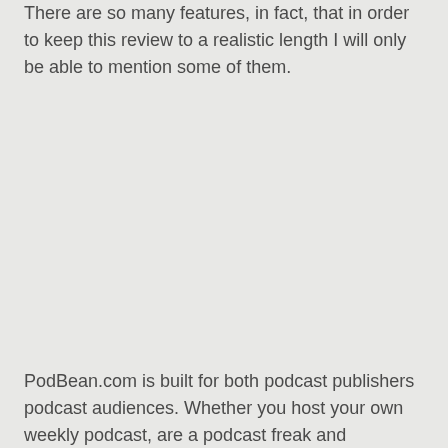There are so many features, in fact, that in order to keep this review to a realistic length I will only be able to mention some of them.
PodBean.com is built for both podcast publishers podcast audiences. Whether you host your own weekly podcast, are a podcast freak and subscribe to multiple